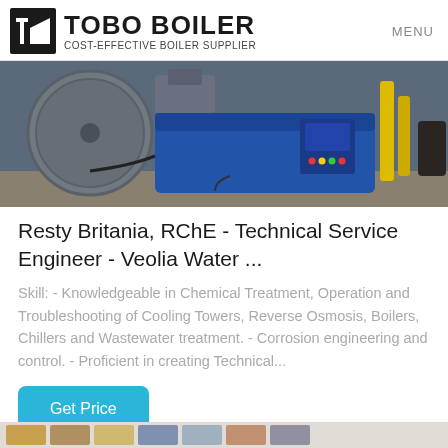TOBO BOILER — COST-EFFECTIVE BOILER SUPPLIER | MENU
[Figure (photo): Industrial boiler equipment in blue casing with control panel and yellow gas lines, displayed in a workshop or factory setting.]
Resty Britania, RChE - Technical Service Engineer - Veolia Water ...
Skill: - Knowledgeable in Chemical Treatment, Operation and Troubleshooting of Cooling Towers, Reverse Osmosis, Boilers, Chillers and Wastewater treatment. - Corrosion engineering and control. - Proficient in creating Technical...
Get Price